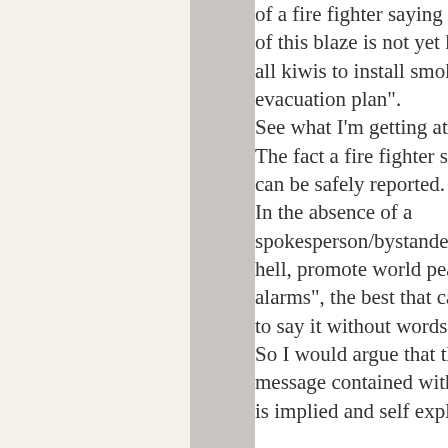of a fire fighter saying something like, "the cause of this blaze is not yet known, it is a timely reminder for all kiwis to install smoke alarms and have an evacuation plan". See what I'm getting at here? The fact a fire fighter said that, is an observation that can be safely reported. In the absence of a spokesperson/bystander/victim/witness to say "go to hell, promote world peace" or "fires kill, install smoke alarms", the best that can be done is to show it, to say it without words. So I would argue that there very much is a message contained within those aired images, and it is implied and self explanatory.

As for the question of age, and information, the example you gave is a little flawed. Here's why; Interviewing a child who is a victim of crime, or faces criminal charges in the Youth Court, involves information which is sub-jud...